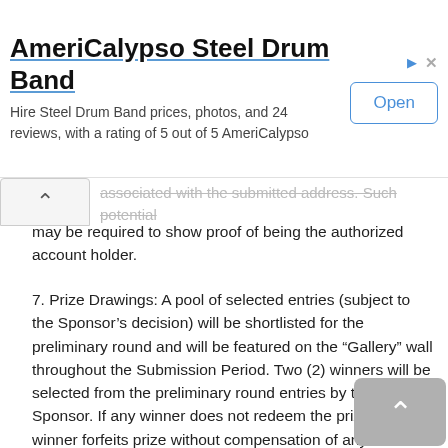[Figure (screenshot): Advertisement banner for AmeriCalypso Steel Drum Band with 'Open' button]
associated with the submitted address. Such potential may be required to show proof of being the authorized account holder.
7. Prize Drawings: A pool of selected entries (subject to the Sponsor's decision) will be shortlisted for the preliminary round and will be featured on the “Gallery” wall throughout the Submission Period. Two (2) winners will be selected from the preliminary round entries by the Sponsor. If any winner does not redeem the prize, such winner forfeits prize without compensation of any kind. Winners must continue to comply with all terms and conditions of these Official Rules and winning are contingent upon fulfilling all requirements. In the event that a potential winner of any prize is disqualified for any reason, the Sponsor will award the applicable prize to an alternate winner from among all remaining eligible entries received.
8. Prizes: Two (2) winners will receive a Longines Sport Collection Watch worth a minimum of RM5,000 each. Prizes are non-